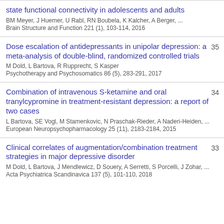state functional connectivity in adolescents and adults
BM Meyer, J Huemer, U Rabl, RN Boubela, K Kalcher, A Berger, ...
Brain Structure and Function 221 (1), 103-114, 2016
Dose escalation of antidepressants in unipolar depression: a meta-analysis of double-blind, randomized controlled trials
M Dold, L Bartova, R Rupprecht, S Kasper
Psychotherapy and Psychosomatics 86 (5), 283-291, 2017
35
Combination of intravenous S-ketamine and oral tranylcypromine in treatment-resistant depression: a report of two cases
L Bartova, SE Vogl, M Stamenkovic, N Praschak-Rieder, A Naderi-Heiden, ...
European Neuropsychopharmacology 25 (11), 2183-2184, 2015
34
Clinical correlates of augmentation/combination treatment strategies in major depressive disorder
M Dold, L Bartova, J Mendlewicz, D Souery, A Serretti, S Porcelli, J Zohar, ...
Acta Psychiatrica Scandinavica 137 (5), 101-110, 2018
33